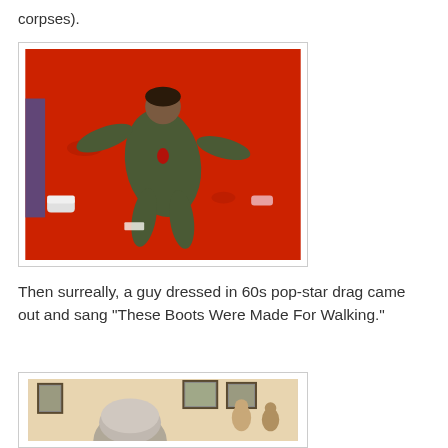corpses).
[Figure (photo): Person lying on a red floor wearing olive/green military-style clothing, viewed from above; other people's feet and legs visible around them.]
Then surreally, a guy dressed in 60s pop-star drag came out and sang "These Boots Were Made For Walking."
[Figure (photo): Interior gallery scene with people gathered; back of a person's head with grey hair visible in foreground; framed pictures on walls in background.]